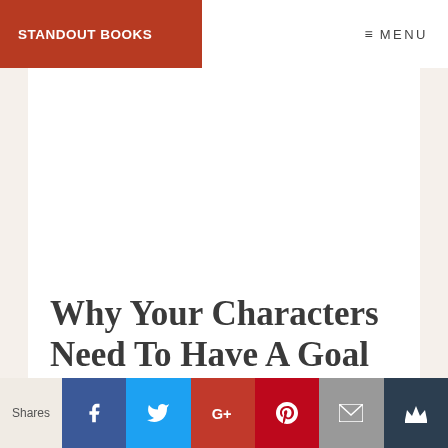STANDOUT BOOKS | MENU
[Figure (illustration): Cartoon illustration of a small child with red hair running, with a red bat/creature holding a blue circle with number 1 flying above]
Why Your Characters Need To Have A Goal
Shares | Facebook | Twitter | Google+ | Pinterest | Email | Crown